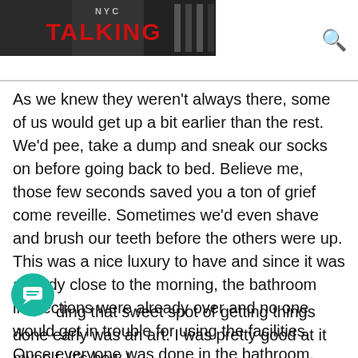NYC TALKING
As we knew they weren't always there, some of us would get up a bit earlier than the rest. We'd pee, take a dump and sneak our socks on before going back to bed. Believe me, those few seconds saved you a ton of grief come reveille. Sometimes we'd even shave and brush our teeth before the others were up. This was a nice luxury to have and since it was already close to the morning, the bathroom inspections were already over and no one would get in trouble for using the facilities. Once everyone was done in the bathroom, that's when you had to clean it up again and using it for shaving, etc would get someone reamed.
Finding that sweet spot of getting things done early was an art. I was pretty good at it myself. It's how I